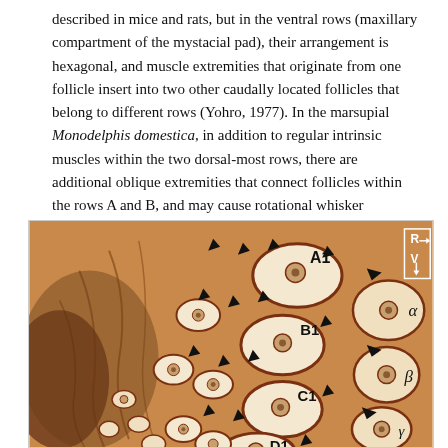described in mice and rats, but in the ventral rows (maxillary compartment of the mystacial pad), their arrangement is hexagonal, and muscle extremities that originate from one follicle insert into two other caudally located follicles that belong to different rows (Yohro, 1977). In the marsupial Monodelphis domestica, in addition to regular intrinsic muscles within the two dorsal-most rows, there are additional oblique extremities that connect follicles within the rows A and B, and may cause rotational whisker movements (Grant et al., 2013). Intrinsic muscles of the most caudally located follicles (vibrissal arc that is composed of straddlers) insert into the corium caudal to the mystacial pad.
[Figure (photo): Histological cross-section image of mystacial pad showing vibrissal follicles labeled A1, B1, C1, D1, alpha, beta, gamma with black arrowheads indicating muscle insertions, and orientation markers R (rostral) and V (ventral) in upper right corner.]